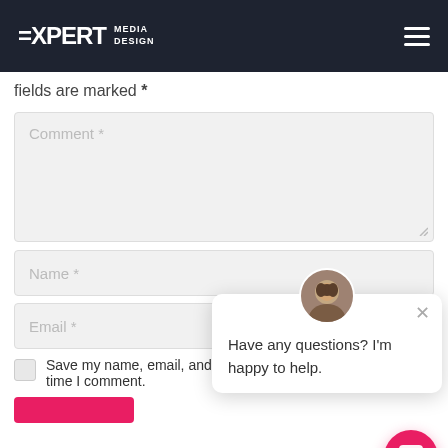EXPERT MEDIA DESIGN
fields are marked *
Comment *
Name *
Email *
Save my name, email, and website in this browser for the next time I comment.
Have any questions? I'm happy to help.